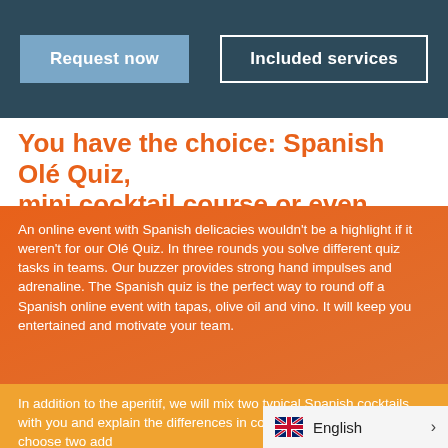Request now | Included services
You have the choice: Spanish Olé Quiz, mini cocktail course or even both?
An online event with Spanish delicacies wouldn't be a highlight if it weren't for our Olé Quiz. In three rounds you solve different quiz tasks in teams. Our buzzer provides strong hand impulses and adrenaline. The Spanish quiz is the perfect way to round off a Spanish online event with tapas, olive oil and vino. It will keep you entertained and motivate your team.
In addition to the aperitif, we will mix two typical Spanish cocktails with you and explain the differences in cocktail making. You can choose two add